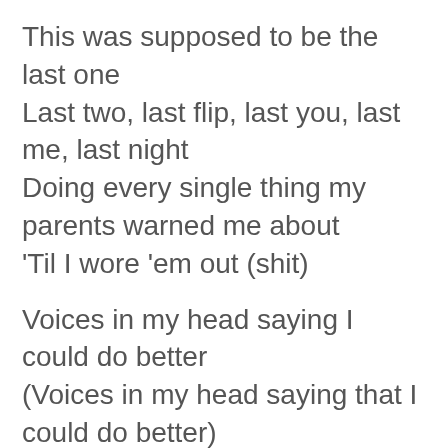This was supposed to be the last one
Last two, last flip, last you, last me, last night
Doing every single thing my parents warned me about
'Til I wore 'em out (shit)
Voices in my head saying I could do better
(Voices in my head saying that I could do better)
Voices in my head saying that I knew better
I done seen this shit happen a hundred